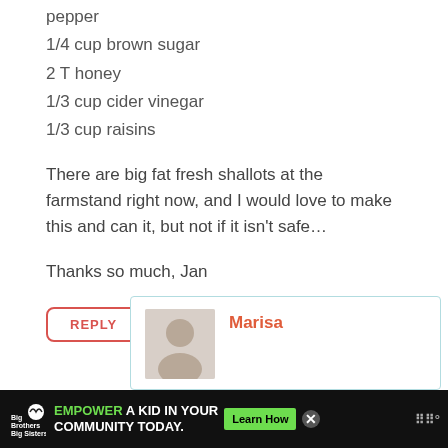pepper
1/4 cup brown sugar
2 T honey
1/3 cup cider vinegar
1/3 cup raisins
There are big fat fresh shallots at the farmstand right now, and I would love to make this and can it, but not if it isn't safe…
Thanks so much, Jan
REPLY
Marisa